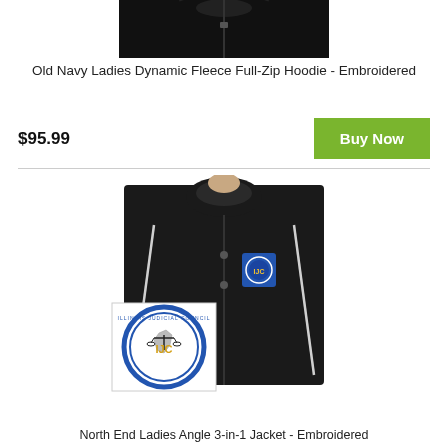[Figure (photo): Old Navy Ladies Dynamic Fleece Full-Zip Hoodie product photo (black hoodie, cropped at top)]
Old Navy Ladies Dynamic Fleece Full-Zip Hoodie - Embroidered
$95.99
Buy Now
[Figure (photo): North End Ladies Angle 3-in-1 Jacket product photo (black jacket with white piping, woman model, IJC logo embroidered on chest, large IJC logo medallion in foreground)]
North End Ladies Angle 3-in-1 Jacket - Embroidered